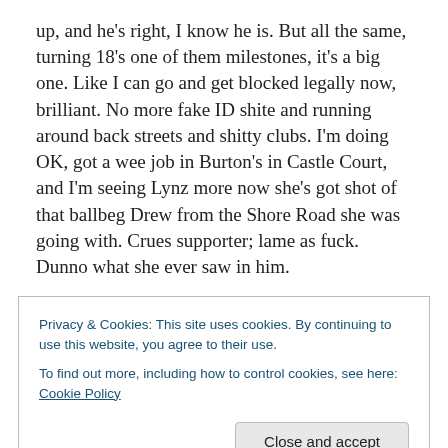up, and he's right, I know he is. But all the same, turning 18's one of them milestones, it's a big one. Like I can go and get blocked legally now, brilliant. No more fake ID shite and running around back streets and shitty clubs. I'm doing OK, got a wee job in Burton's in Castle Court, and I'm seeing Lynz more now she's got shot of that ballbeg Drew from the Shore Road she was going with. Crues supporter; lame as fuck. Dunno what she ever saw in him.
So, like I was saying, I was kinda excited when I got up this morning, it being the big 18th. Da was already up and
Privacy & Cookies: This site uses cookies. By continuing to use this website, you agree to their use.
To find out more, including how to control cookies, see here: Cookie Policy
Close and accept
(partial bottom text)